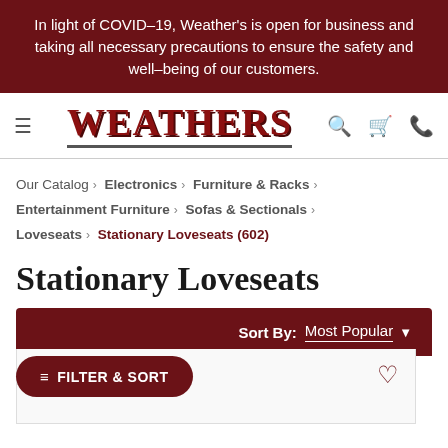In light of COVID–19, Weather's is open for business and taking all necessary precautions to ensure the safety and well–being of our customers.
[Figure (logo): Weathers furniture store logo in red with distressed Western-style lettering]
Our Catalog › Electronics › Furniture & Racks › Entertainment Furniture › Sofas & Sectionals › Loveseats › Stationary Loveseats (602)
Stationary Loveseats
Sort By: Most Popular
FILTER & SORT